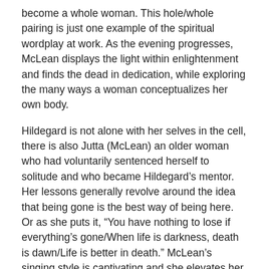become a whole woman. This hole/whole pairing is just one example of the spiritual wordplay at work. As the evening progresses, McLean displays the light within enlightenment and finds the dead in dedication, while exploring the many ways a woman conceptualizes her own body.
Hildegard is not alone with her selves in the cell, there is also Jutta (McLean) an older woman who had voluntarily sentenced herself to solitude and who became Hildegard's mentor. Her lessons generally revolve around the idea that being gone is the best way of being here. Or as she puts it, “You have nothing to lose if everything’s gone/When life is darkness, death is dawn/Life is better in death.” McLean’s singing style is captivating and she elevates her performance with a nifty bit of technology. Often letting loose with a stream of utterances or other haunting mouth noises, she is wired up with a device that allows her to instantly record and play the tones over and over in a loop, providing an eerie and appropriately lonely sounding